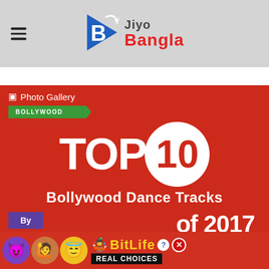Jiyo Bangla
📷 Photo Gallery
BOLLYWOOD
[Figure (infographic): TOP 10 Bollywood Dance Tracks of 2017 graphic on red background with large white circle containing '10']
[Figure (infographic): BitLife advertisement banner with emoji characters and 'REAL CHOICES' text]